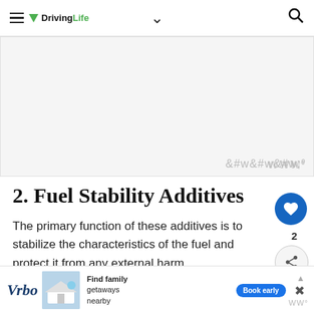DrivingLife
[Figure (other): Advertisement placeholder area, light gray background with watermark symbol]
2. Fuel Stability Additives
The primary function of these additives is to stabilize the characteristics of the fuel and protect it from any external harm.
They are anti-oxidising in nature and
[Figure (other): Bottom advertisement banner: Vrbo – Find family getaways nearby, Book early button]